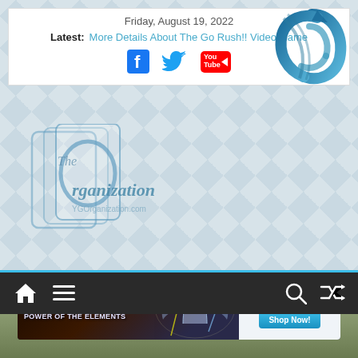Friday, August 19, 2022
Latest: More Details About The Go Rush!! Video Game
[Figure (logo): Facebook, Twitter, YouTube social media icons]
[Figure (logo): The Organization YGOrganization.com logo with card art style graphic]
[Figure (logo): YGOrganization spinning circular logo top right]
[Figure (illustration): CoolStuffInc advertisement banner for Yu-Gi-Oh Power of the Elements with Shop Now button]
[Figure (other): Navigation bar with home, menu, search, and shuffle icons on dark background with teal top border]